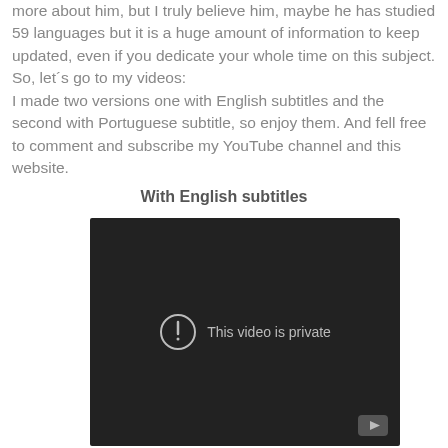more about him, but I truly believe him, maybe he has studied 59 languages but it is a huge amount of information to keep updated, even if you dedicate your whole time on this subject.
So, let´s go to my videos:
I made two versions one with English subtitles and the second with Portuguese subtitle, so enjoy them. And fell free to comment and subscribe my YouTube channel and this website.
With English subtitles
[Figure (screenshot): Embedded YouTube video player showing a dark/black background with a circle exclamation icon and the text 'This video is private', and a YouTube logo in the bottom right corner.]